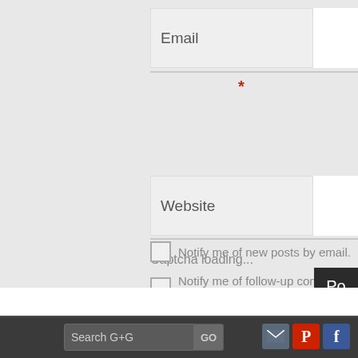[Figure (screenshot): Web form section showing Email and Website input fields with a placeholder label on the left and white input area on the right. A red asterisk appears below the Email field. Below the Website field is a 'Captcha loading...' text. Two checkboxes follow: 'Notify me of follow-up comments by email.' and 'Notify me of new posts by email.' A dark 'Po' button is partially visible at the right edge.]
Email
*
Website
Captcha loading...
Notify me of follow-up comments by email.
Notify me of new posts by email.
[Figure (screenshot): Dark footer bar with a search box labeled 'Search G+G' and 'GO' button, plus social media icons for email, Pinterest, and Facebook (partially visible).]
Search G+G
GO